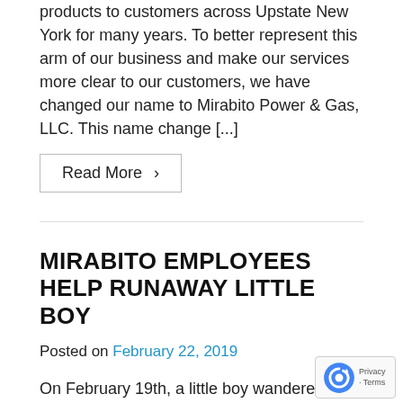products to customers across Upstate New York for many years. To better represent this arm of our business and make our services more clear to our customers, we have changed our name to Mirabito Power & Gas, LLC. This name change [...]
Read More >
MIRABITO EMPLOYEES HELP RUNAWAY LITTLE BOY
Posted on February 22, 2019
On February 19th, a little boy wandered in to the Mirabito Convenience Store in Earlville, NY. The little boy was alone and appeared to be lost. Donna Barley, who was on staff that evening, immedia… became concerned upon noticing that the boy did